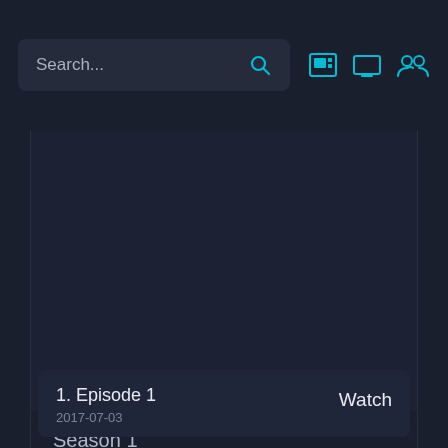Search...
[Figure (screenshot): Dark content area showing a TV show or streaming interface with a large dark video/poster thumbnail area]
Season 1
1. Episode 1
2017-07-03
Watch